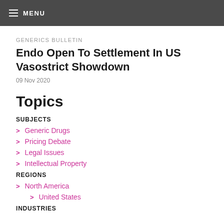MENU
GENERICS BULLETIN
Endo Open To Settlement In US Vasostrict Showdown
09 Nov 2020
Topics
SUBJECTS
Generic Drugs
Pricing Debate
Legal Issues
Intellectual Property
REGIONS
North America
United States
INDUSTRIES